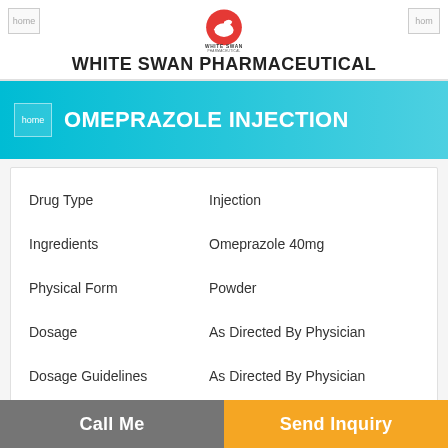WHITE SWAN PHARMACEUTICAL
OMEPRAZOLE INJECTION
| Field | Value |
| --- | --- |
| Drug Type | Injection |
| Ingredients | Omeprazole 40mg |
| Physical Form | Powder |
| Dosage | As Directed By Physician |
| Dosage Guidelines | As Directed By Physician |
| Storage Instructions | Store In a Cool & Dry Place |
Product Description